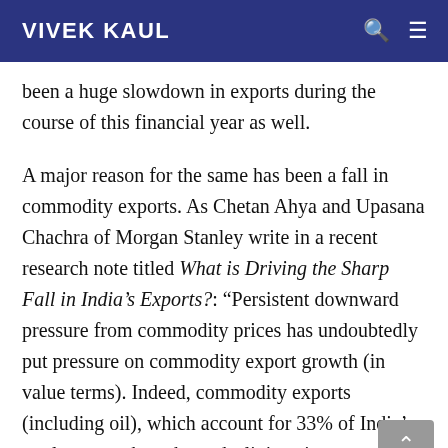VIVEK KAUL
been a huge slowdown in exports during the course of this financial year as well.
A major reason for the same has been a fall in commodity exports. As Chetan Ahya and Upasana Chachra of Morgan Stanley write in a recent research note titled What is Driving the Sharp Fall in India's Exports?: "Persistent downward pressure from commodity prices has undoubtedly put pressure on commodity export growth (in value terms). Indeed, commodity exports (including oil), which account for 33% of India's total exports, have been declining since